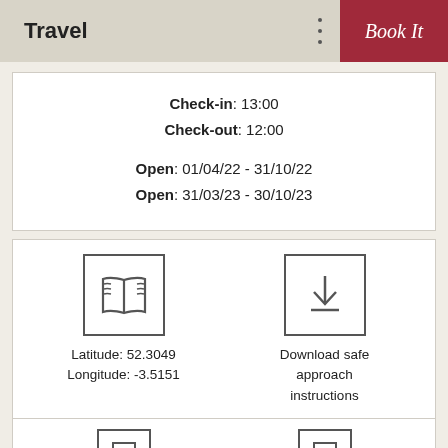Travel
Check-in: 13:00
Check-out: 12:00
Open: 01/04/22 - 31/10/22
Open: 31/03/23 - 30/10/23
[Figure (illustration): Map/location icon inside a square border showing an open book/map symbol]
Latitude: 52.3049
Longitude: -3.5151
[Figure (illustration): Download icon inside a square border showing a downward arrow with a line beneath]
Download safe approach instructions